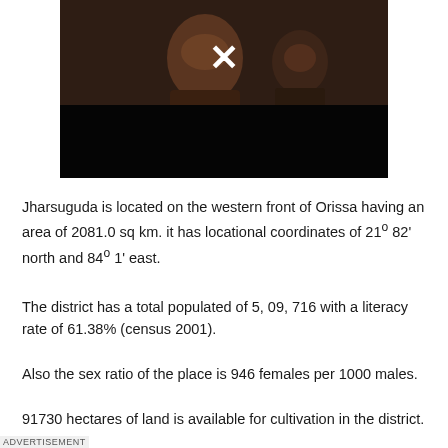[Figure (photo): Dark cinema/theater photograph showing a young woman's profile in the foreground with an audience in the background, with a white X mark overlay in the center]
Jharsuguda is located on the western front of Orissa having an area of 2081.0 sq km. it has locational coordinates of 21° 82' north and 84° 1' east.
The district has a total populated of 5, 09, 716 with a literacy rate of 61.38% (census 2001).
Also the sex ratio of the place is 946 females per 1000 males.
91730 hectares of land is available for cultivation in the district.
ADVERTISEMENT